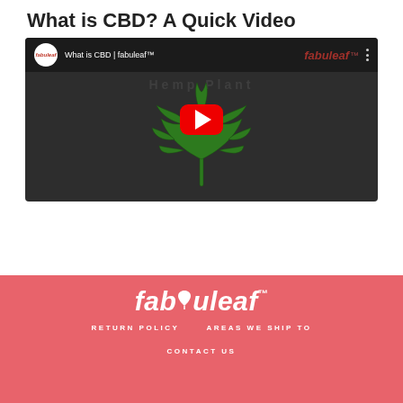What is CBD? A Quick Video
[Figure (screenshot): YouTube video thumbnail showing 'What is CBD | fabuleaf™' with a cannabis leaf illustration, fabuleaf branding, and a YouTube play button overlay on a dark background.]
[Figure (logo): fabuleaf™ logo in white italic text on a coral/salmon pink footer background]
RETURN POLICY   AREAS WE SHIP TO   CONTACT US